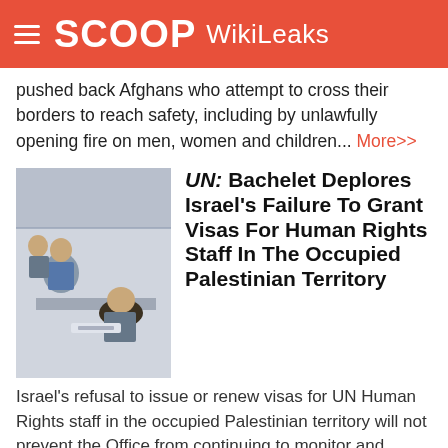SCOOP WikiLeaks
pushed back Afghans who attempt to cross their borders to reach safety, including by unlawfully opening fire on men, women and children... More>>
UN: Bachelet Deplores Israel's Failure To Grant Visas For Human Rights Staff In The Occupied Palestinian Territory
Israel's refusal to issue or renew visas for UN Human Rights staff in the occupied Palestinian territory will not prevent the Office from continuing to monitor and report on the human rights situation on the ground...
More>>
UN: Atomic Energy Experts Head To Stricken Nuclear Power Station
A team of UN atomic energy experts set out...